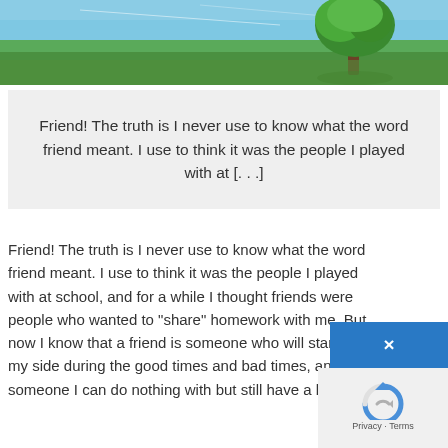[Figure (photo): A landscape photo showing a blue sky with a single green tree on the right side and a green field below.]
Friend! The truth is I never use to know what the word friend meant. I use to think it was the people I played with at [...]
Friend! The truth is I never use to know what the word friend meant. I use to think it was the people I played with at school, and for a while I thought friends were people who wanted to "share" homework with me. But now I know that a friend is someone who will stand by my side during the good times and bad times, and someone I can do nothing with but still have a blast.